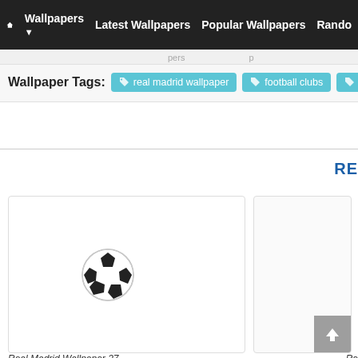Wallpapers | Latest Wallpapers | Popular Wallpapers | Rando...
Wallpaper Tags: real madrid wallpaper  football clubs  c...
RE...
[Figure (screenshot): Wallpaper thumbnail card with a soccer ball image on white background]
[Figure (screenshot): Partial second wallpaper thumbnail card, cut off on right]
Real Madrid Wallpaper 27
Re...